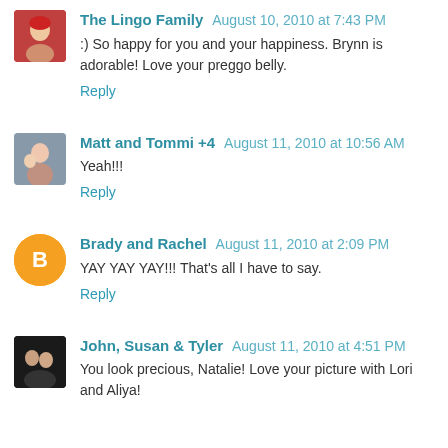[Figure (photo): Avatar photo of The Lingo Family - small child with red/pink background]
The Lingo Family August 10, 2010 at 7:43 PM
:) So happy for you and your happiness. Brynn is adorable! Love your preggo belly.
Reply
[Figure (photo): Avatar photo of Matt and Tommi +4 - adult with children]
Matt and Tommi +4 August 11, 2010 at 10:56 AM
Yeah!!!
Reply
[Figure (logo): Blogger default orange circle avatar with B logo]
Brady and Rachel August 11, 2010 at 2:09 PM
YAY YAY YAY!!! That's all I have to say.
Reply
[Figure (photo): Avatar photo of John, Susan & Tyler - group of people]
John, Susan & Tyler August 11, 2010 at 4:51 PM
You look precious, Natalie! Love your picture with Lori and Aliya!